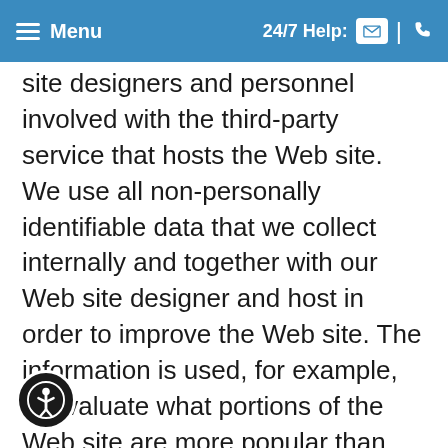Menu | 24/7 Help:
site designers and personnel involved with the third-party service that hosts the Web site. We use all non-personally identifiable data that we collect internally and together with our Web site designer and host in order to improve the Web site. The information is used, for example, to evaluate what portions of the Web site are more popular than others, to determine where visitors to the site came from, and to determine how many times and how often particular pages of the site were accessed. We may use the data to prepare reports regarding Web site activity as part of